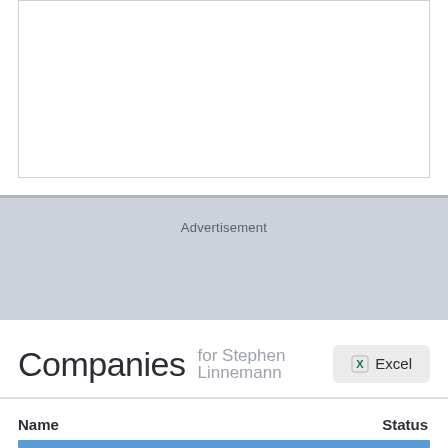[Figure (other): White rectangular box with light border at the top of the page]
Advertisement
Companies for Stephen Linnemann
| Name | Status |
| --- | --- |